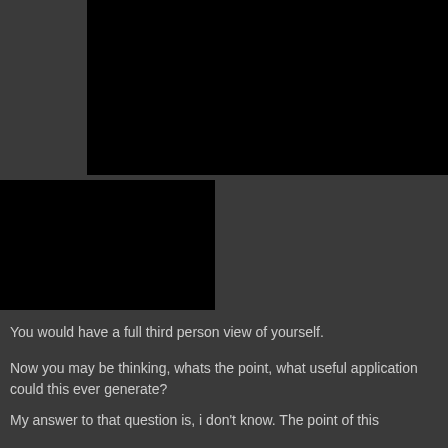[Figure (photo): A large black rectangle image/video frame, positioned upper right area]
[Figure (photo): A smaller black rectangle image/video frame, positioned middle left area]
You would have a full third person view of yourself.
Now you may be thinking, whats the point, what useful application could this ever generate?
My answer to that question is, i don't know. The point of this